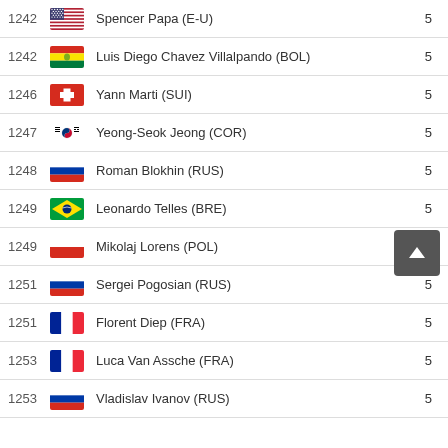| Rank | Flag | Name | Score |
| --- | --- | --- | --- |
| 1242 | E-U | Spencer Papa (E-U) | 5 |
| 1242 | BOL | Luis Diego Chavez Villalpando (BOL) | 5 |
| 1246 | SUI | Yann Marti (SUI) | 5 |
| 1247 | COR | Yeong-Seok Jeong (COR) | 5 |
| 1248 | RUS | Roman Blokhin (RUS) | 5 |
| 1249 | BRE | Leonardo Telles (BRE) | 5 |
| 1249 | POL | Mikolaj Lorens (POL) | 5 |
| 1251 | RUS | Sergei Pogosian (RUS) | 5 |
| 1251 | FRA | Florent Diep (FRA) | 5 |
| 1253 | FRA | Luca Van Assche (FRA) | 5 |
| 1253 | RUS | Vladislav Ivanov (RUS) | 5 |